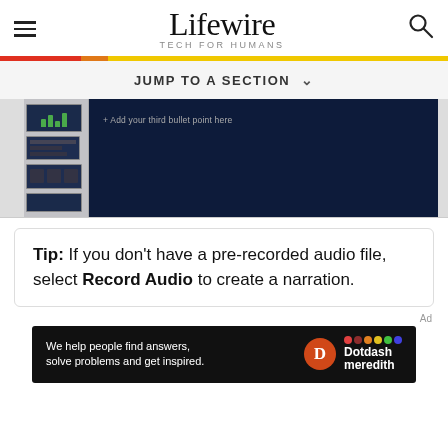Lifewire — TECH FOR HUMANS
[Figure (screenshot): Screenshot of a PowerPoint presentation editing interface, showing a slide panel on the left with multiple slide thumbnails and a dark blue main slide area with the text '+ Add your third bullet point here']
Tip: If you don't have a pre-recorded audio file, select Record Audio to create a narration.
[Figure (other): Dotdash Meredith advertisement banner with text 'We help people find answers, solve problems and get inspired.' with Dotdash Meredith logo]